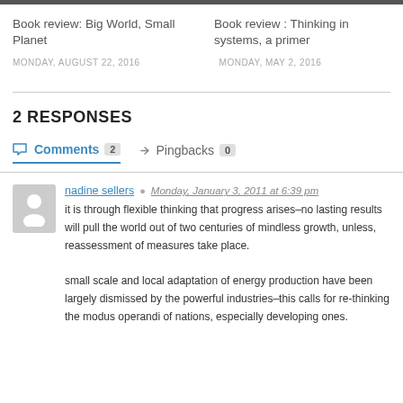Book review: Big World, Small Planet | Book review : Thinking in systems, a primer
MONDAY, AUGUST 22, 2016 | MONDAY, MAY 2, 2016
2 RESPONSES
Comments 2   Pingbacks 0
nadine sellers  Monday, January 3, 2011 at 6:39 pm
it is through flexible thinking that progress arises–no lasting results will pull the world out of two centuries of mindless growth, unless, reassessment of measures take place.
small scale and local adaptation of energy production have been largely dismissed by the powerful industries–this calls for re-thinking the modus operandi of nations, especially developing ones.